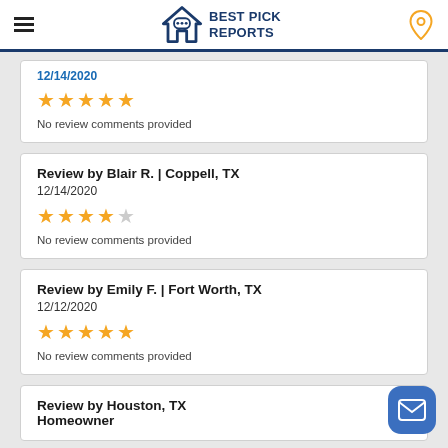Best Pick Reports
12/14/2020 (partial top card, date cut off)
No review comments provided
Review by Blair R. | Coppell, TX
12/14/2020
No review comments provided
Review by Emily F. | Fort Worth, TX
12/12/2020
No review comments provided
Review by Houston, TX Homeowner